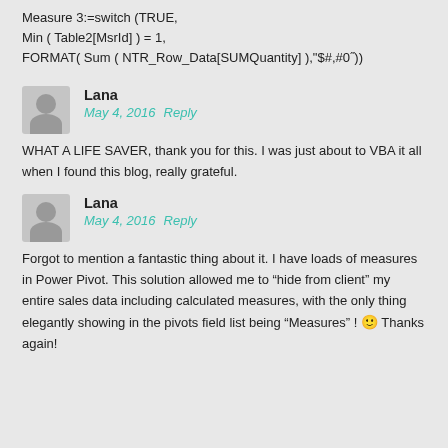Measure 3:=switch (TRUE,
Min ( Table2[MsrId] ) = 1,
FORMAT( Sum ( NTR_Row_Data[SUMQuantity] ),"$#,#0"))
Lana
May 4, 2016   Reply
WHAT A LIFE SAVER, thank you for this. I was just about to VBA it all when I found this blog, really grateful.
Lana
May 4, 2016   Reply
Forgot to mention a fantastic thing about it. I have loads of measures in Power Pivot. This solution allowed me to “hide from client” my entire sales data including calculated measures, with the only thing elegantly showing in the pivots field list being “Measures” ! 🙂 Thanks again!